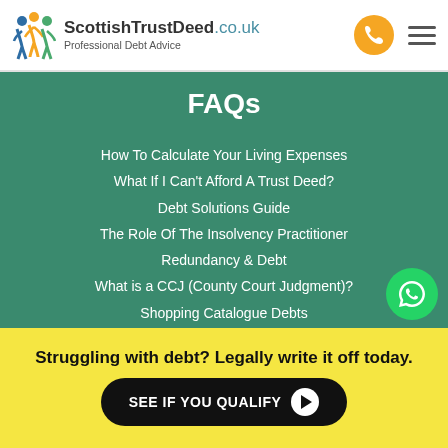ScottishTrustDeed.co.uk — Professional Debt Advice
FAQs
How To Calculate Your Living Expenses
What If I Can't Afford A Trust Deed?
Debt Solutions Guide
The Role Of The Insolvency Practitioner
Redundancy & Debt
What is a CCJ (County Court Judgment)?
Shopping Catalogue Debts
HMRC Debts
How Do Debts Affect My Pension?
Debt & Mental Health
Struggling with debt? Legally write it off today.
SEE IF YOU QUALIFY